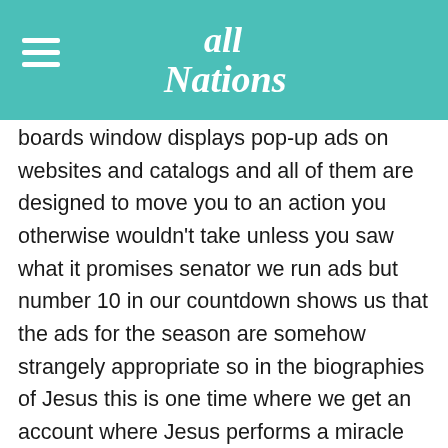All Nations
boards window displays pop-up ads on websites and catalogs and all of them are designed to move you to an action you otherwise wouldn't take unless you saw what it promises senator we run ads but number 10 in our countdown shows us that the ads for the season are somehow strangely appropriate so in the biographies of Jesus this is one time where we get an account where Jesus performs a miracle and then afterwards he tells the crowd who's astonished I have come down from heaven not to do my will but the will of who sent me and everyone who's listening to Jesus is like okay so what is your father's will